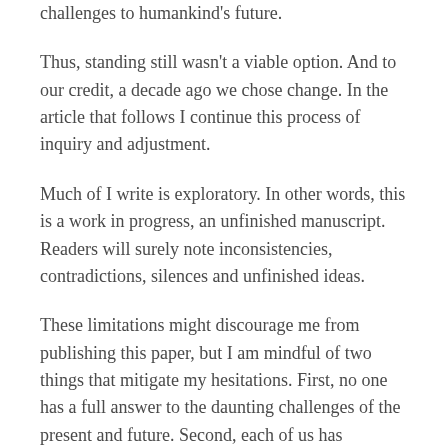challenges to humankind's future.
Thus, standing still wasn't a viable option. And to our credit, a decade ago we chose change. In the article that follows I continue this process of inquiry and adjustment.
Much of I write is exploratory. In other words, this is a work in progress, an unfinished manuscript. Readers will surely note inconsistencies, contradictions, silences and unfinished ideas.
These limitations might discourage me from publishing this paper, but I am mindful of two things that mitigate my hesitations. First, no one has a full answer to the daunting challenges of the present and future. Second, each of us has